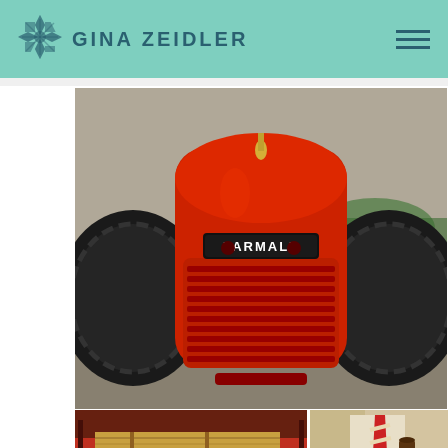GINA ZEIDLER
[Figure (photo): Close-up front view of a red Farmall vintage tractor with large black rubber tires and chrome FARMALL badge on the grille, parked on pavement with green bushes and cars in background]
[Figure (photo): Red flatbed wagon or tractor bed with bales of hay/straw and two brown glass beer bottles (Budweiser) sitting in front of the hay]
[Figure (photo): Man in beige/cream suit with red and white striped tie holding a brown glass beer bottle (Budweiser)]